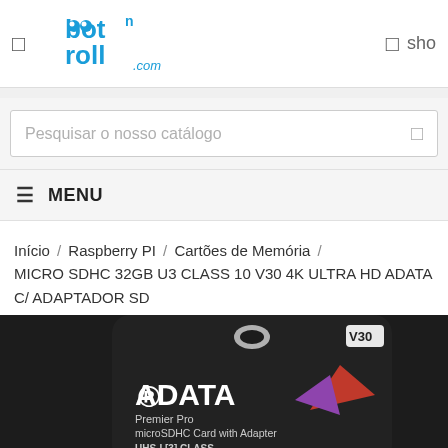[Figure (logo): botnroll.com logo with cartoon robot eyes in blue text]
shop
[Figure (screenshot): Search bar with placeholder text: Pesquisar o nosso catálogo]
≡ MENU
Início / Raspberry PI / Cartões de Memória / MICRO SDHC 32GB U3 CLASS 10 V30 4K ULTRA HD ADATA C/ ADAPTADOR SD
[Figure (photo): ADATA Premier Pro microSDHC Card with Adapter product packaging. Black card with V30 badge, hummingbird graphic in red/purple, shows Premier Pro microSDHC Card with Adapter, UHS-I U3 Class text at bottom.]